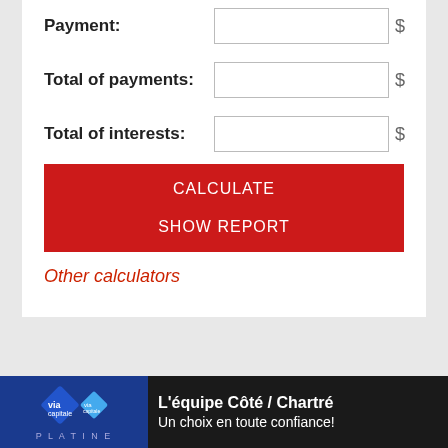Payment:
Total of payments:
Total of interests:
CALCULATE
SHOW REPORT
Other calculators
[Figure (other): Via capitale advertisement banner: 'L'équipe Côté / Chartré - Un choix en toute confiance!' with diamond logo and PLATINE label]